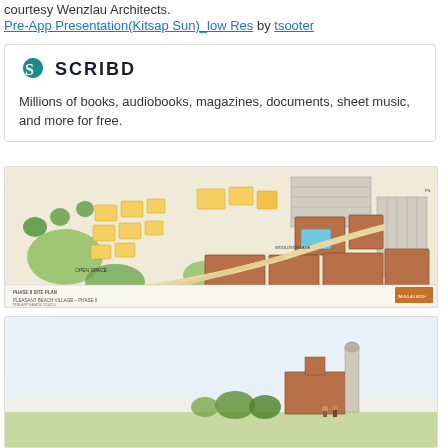courtesy Wenzlau Architects.
Pre-App Presentation(Kitsap Sun)_low Res by tsooter
[Figure (screenshot): Scribd embed card showing logo and tagline: Millions of books, audiobooks, magazines, documents, sheet music, and more for free.]
[Figure (map): Phase II site plan for Pleasant Beach Village - Phase II, showing buildings in yellow and brown, green open spaces, parking areas, and road layout. Labeled 'PHASE II SITE PLAN' and 'PLEASANT BEACH VILLAGE - PHASE II' by Wenzlau Architects.]
[Figure (illustration): Second architectural illustration card, partially visible, showing a building elevation or rendering.]